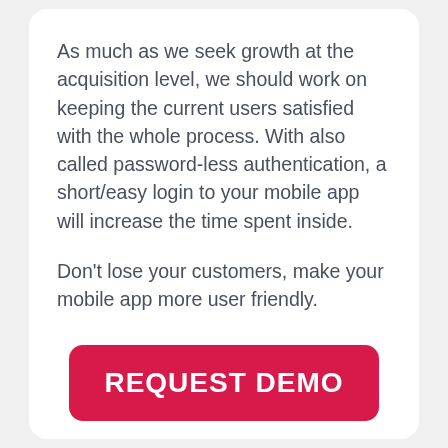As much as we seek growth at the acquisition level, we should work on keeping the current users satisfied with the whole process. With also called password-less authentication, a short/easy login to your mobile app will increase the time spent inside.
Don't lose your customers, make your mobile app more user friendly.
[Figure (other): A large red rounded-rectangle button with white bold text reading REQUEST DEMO]